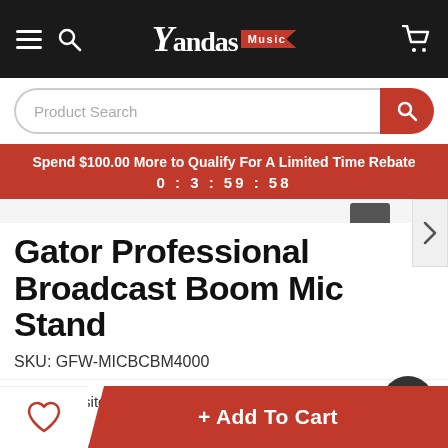Yandas Music
Product Search
Spend $100.00 More to Qualify For A Limited Time Rebate 0 : 3 : 59 : 58
Gator Professional Broadcast Boom Mic Stand
SKU: GFW-MICBCBM4000
121 Visitor Right Now
+ Add To Cart